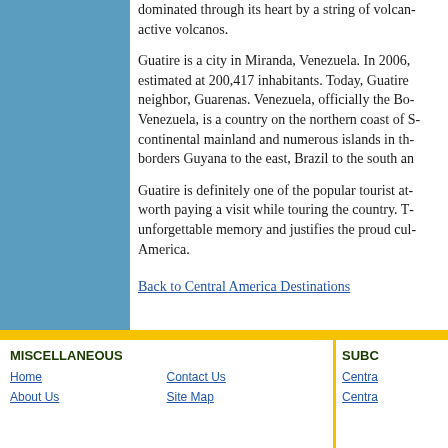dominated through its heart by a string of volcan... active volcanos.
Guatire is a city in Miranda, Venezuela. In 2006, estimated at 200,417 inhabitants. Today, Guatire neighbor, Guarenas. Venezuela, officially the Bo... Venezuela, is a country on the northern coast of S... continental mainland and numerous islands in th... borders Guyana to the east, Brazil to the south an...
Guatire is definitely one of the popular tourist at... worth paying a visit while touring the country. T... unforgettable memory and justifies the proud cul... America.
Back to Central America Destinations
MISCELLANEOUS
Home
About Us
Contact Us
Site Map
SUBC
Centra
Centra